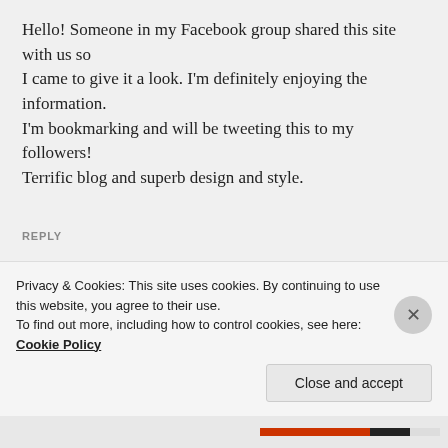Hello! Someone in my Facebook group shared this site with us so I came to give it a look. I'm definitely enjoying the information. I'm bookmarking and will be tweeting this to my followers! Terrific blog and superb design and style.
REPLY
[Figure (photo): Circular avatar photo of a person outdoors with lights in the background]
runner unleashed
SEPTEMBER 7, 2013 AT 1:23 AM
Privacy & Cookies: This site uses cookies. By continuing to use this website, you agree to their use. To find out more, including how to control cookies, see here: Cookie Policy
Close and accept